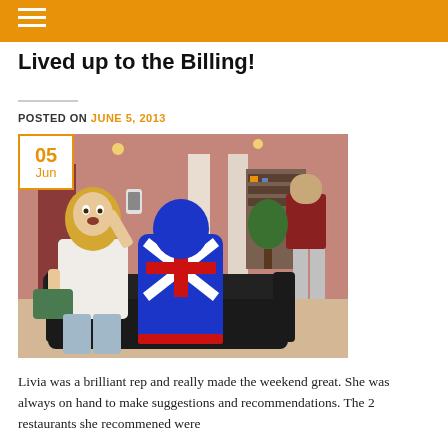Lived up to the Billing!
POSTED ON JUNE 5, 2013
[Figure (photo): A woman in white taking a selfie while seated next to a person in a blue Union Jack full-body costume/morph suit on a black leather sofa in a hotel lobby. A man in red shirt and grey shorts stands in the background near pillars.]
Livia was a brilliant rep and really made the weekend great. She was always on hand to make suggestions and recommendations. The 2 restaurants she recommened were